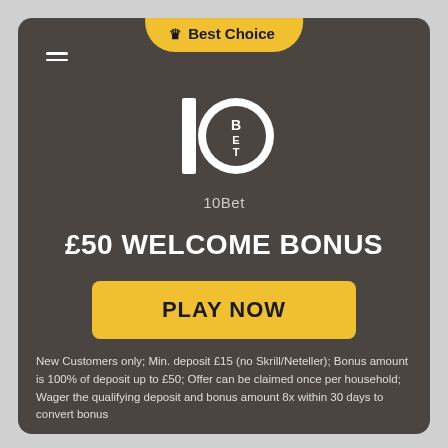[Figure (logo): 10Bet logo — white numeral 1 and circle with BET text inside, on dark background]
10Bet
£50 WELCOME BONUS
PLAY NOW
New Customers only; Min. deposit £15 (no Skrill/Neteller); Bonus amount is 100% of deposit up to £50; Offer can be claimed once per household; Wager the qualifying deposit and bonus amount 8x within 30 days to convert bonus